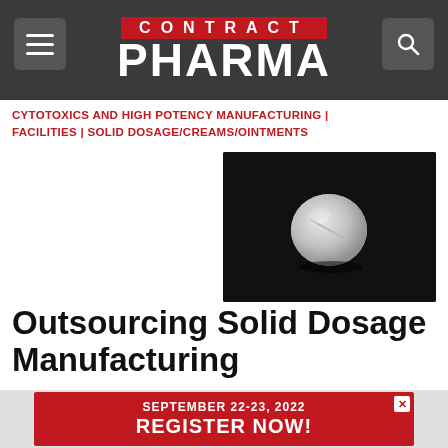CONTRACT PHARMA
CYTOTOXICS AND HIGH POTENCY MANUFACTURING | FACILITIES | SOLID DOSAGE/CREAMS/OINTMENTS
[Figure (photo): A white round pill/tablet on a dark black background, lit from above]
Outsourcing Solid Dosage Manufacturing
A Q&A with Dan Dobry, head of drug product commercial development at Lonza Pharma & Biotech.
Tim Wright, Editor, Contract Pharma  •  03.12.21
[Figure (infographic): Advertisement banner: SEPTEMBER 22-23, 2022 REGISTER NOW!]